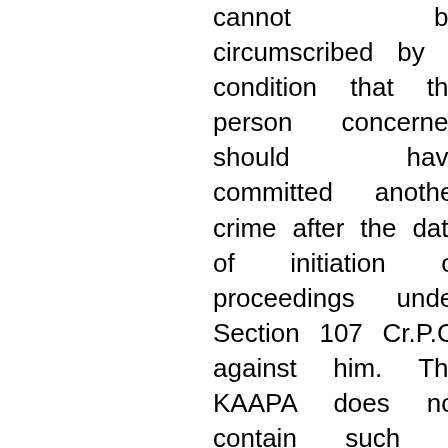cannot be circumscribed by a condition that the person concerned should have committed another crime after the date of initiation of proceedings under Section 107 Cr.P.C. against him. The KAAPA does not contain such a condition. The Code of Criminal Procedure also does not provide anywhere of such a condition in the matter of preventive detention or externment under any law for preventive